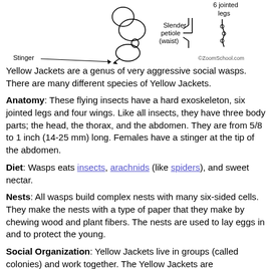[Figure (illustration): Diagram of wasp anatomy showing Stinger with arrow, slender petiole (waist), and 6 jointed legs. Copyright ZoomSchool.com.]
Yellow Jackets are a genus of very aggressive social wasps. There are many different species of Yellow Jackets.
Anatomy: These flying insects have a hard exoskeleton, six jointed legs and four wings. Like all insects, they have three body parts; the head, the thorax, and the abdomen. They are from 5/8 to 1 inch (14-25 mm) long. Females have a stinger at the tip of the abdomen.
Diet: Wasps eats insects, arachnids (like spiders), and sweet nectar.
Nests: All wasps build complex nests with many six-sided cells. They make the nests with a type of paper that they make by chewing wood and plant fibers. The nests are used to lay eggs in and to protect the young.
Social Organization: Yellow Jackets live in groups (called colonies) and work together. The Yellow Jackets are